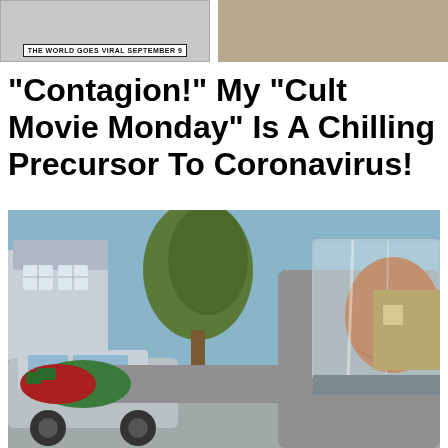[Figure (photo): Top partial image strip showing two images: left is a movie poster or graphic with text 'THE WORLD GOES VIRAL SEPTEMBER 9', right is a partial image with warm tones]
“Contagion!” My “Cult Movie Monday” Is A Chilling Precursor To Coronavirus!
[Figure (photo): Man wearing a full transparent plastic hazmat face shield and protective suit, reaching out with arm extended, while a person with green and red rubber gloves assists. Urban street scene with parked car and houses in background.]